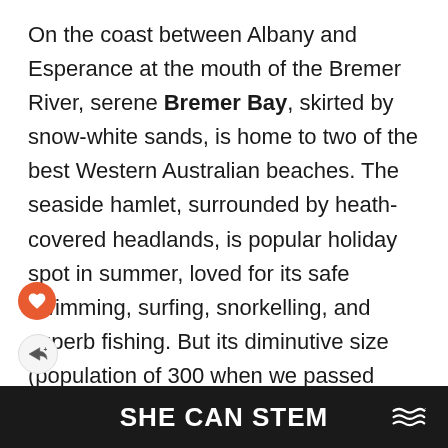On the coast between Albany and Esperance at the mouth of the Bremer River, serene Bremer Bay, skirted by snow-white sands, is home to two of the best Western Australian beaches. The seaside hamlet, surrounded by heath-covered headlands, is popular holiday spot in summer, loved for its safe swimming, surfing, snorkelling, and superb fishing. But its diminutive size (population of 300 when we passed through) and limited accommodation means it never gets uncomfortably crowded. The main beach, an easy 10-minute amble from the centre, has a sheltered swimming cove and crystal clear water, while there's a marina at Fishery Beach where anglers launch boats. You can spot dolphins
SHE CAN STEM